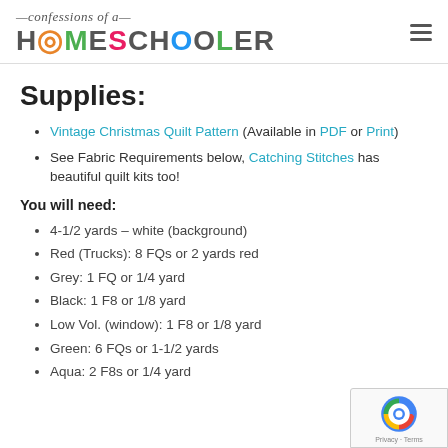confessions of a HOMESCHOOLER
Supplies:
Vintage Christmas Quilt Pattern (Available in PDF or Print)
See Fabric Requirements below, Catching Stitches has beautiful quilt kits too!
You will need:
4-1/2 yards – white (background)
Red (Trucks): 8 FQs or 2 yards red
Grey: 1 FQ or 1/4 yard
Black: 1 F8 or 1/8 yard
Low Vol. (window): 1 F8 or 1/8 yard
Green: 6 FQs or 1-1/2 yards
Aqua: 2 F8s or 1/4 yard